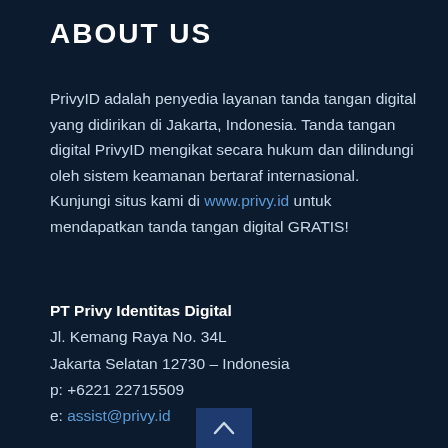ABOUT US
PrivyID adalah penyedia layanan tanda tangan digital yang didirikan di Jakarta, Indonesia. Tanda tangan digital PrivyID mengikat secara hukum dan dilindungi oleh sistem keamanan bertaraf internasional. Kunjungi situs kami di www.privy.id untuk mendapatkan tanda tangan digital GRATIS!
PT Privy Identitas Digital
Jl. Kemang Raya No. 34L
Jakarta Selatan 12730 – Indonesia
p: +6221 22715509
e: assist@privy.id